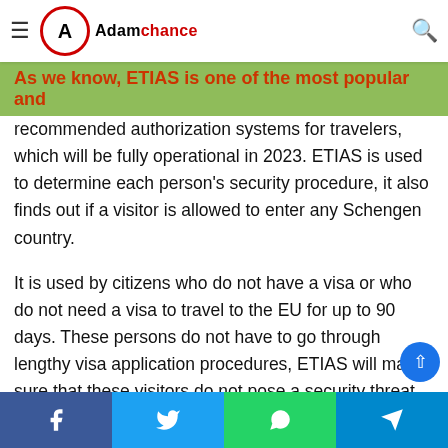Adamchance — navigation bar with hamburger menu and search icon
Uganda, Uzbekistan, Vietnam, Yemen, Zambia, Zimbabwe,
As we know, ETIAS is one of the most popular and recommended authorization systems for travelers, which will be fully operational in 2023. ETIAS is used to determine each person's security procedure, it also finds out if a visitor is allowed to enter any Schengen country.
It is used by citizens who do not have a visa or who do not need a visa to travel to the EU for up to 90 days. These persons do not have to go through lengthy visa application procedures, ETIAS will make sure that these visitors do not pose a security threat to the respective country.
In other words, we can say that ETIAS is easy to use, it can save a person time and money.
Social share buttons: Facebook, Twitter, WhatsApp, Telegram